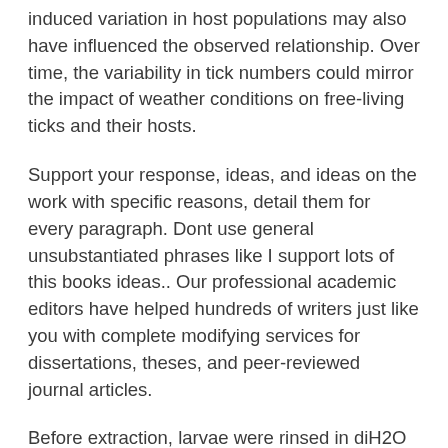induced variation in host populations may also have influenced the observed relationship. Over time, the variability in tick numbers could mirror the impact of weather conditions on free-living ticks and their hosts.
Support your response, ideas, and ideas on the work with specific reasons, detail them for every paragraph. Dont use general unsubstantiated phrases like I support lots of this books ideas.. Our professional academic editors have helped hundreds of writers just like you with complete modifying services for dissertations, theses, and peer-reviewed journal articles.
Before extraction, larvae were rinsed in diH2O and 70% ethanol and dried. We made a single minimize throughout the scutum utilizing a sterile scalpel to protect the tick exoskeleton for additional morphological